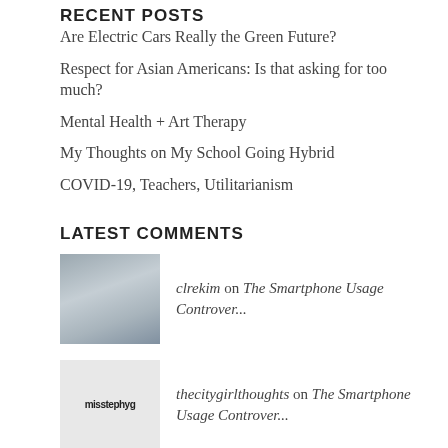RECENT POSTS
Are Electric Cars Really the Green Future?
Respect for Asian Americans: Is that asking for too much?
Mental Health + Art Therapy
My Thoughts on My School Going Hybrid
COVID-19, Teachers, Utilitarianism
LATEST COMMENTS
clrekim on The Smartphone Usage Controver...
thecitygirlthoughts on The Smartphone Usage Controver...